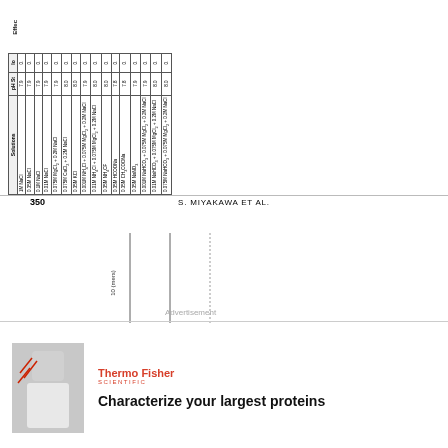| Solutions | pH St | Io |
| --- | --- | --- |
| 1M NaCl | 7.9 | 0. |
| 0.35M NaCl | 7.9 | 0. |
| 0.1M NaCl | 7.9 | 0. |
| 0.01M NaCl | 7.9 | 0. |
| 0.075M MgCl2 + 0.2M NaCl | 7.9 | 0. |
| 0.075M CaCl2 + 0.2M NaCl | 8.0 | 0. |
| 0.35M KCl | 8.0 | 0. |
| 0.001M NH4Cl + 0.075M MgCl2 + 0.2M NaCl | 7.9 | 0. |
| 0.01M NH4Cl + 0.075M MgCl2 + 0.2M NaCl | 8.0 | 0. |
| 0.35M NH4CF | 8.0 | 0. |
| 0.35M HCOONa | 7.8 | 0. |
| 0.35M CH3COONa | 7.8 | 0. |
| 0.35M NaNO3 | 7.9 | 0. |
| 0.001M NaHCO3 + 0.075M MgCl2 + 0.2M NaCl | 7.9 | 0. |
| 0.01M NaHCO3 + 0.075M MgCl2 + 0.2M NaCl | 8.0 | 0. |
| 0.075M NaHCO3 + 0.075M MgCl2 + 0.2M NaCl | 8.0 | 0. |
350                    S. MIYAKAWA ET AL.
[Figure (other): Partial view of a scientific chart with rotated y-axis label '10 (mers)' and vertical chart lines, partially obscured]
Advertisement
[Figure (photo): Advertisement photo showing a woman in white lab coat with Thermo Fisher Scientific branding]
Thermo Fisher SCIENTIFIC
Characterize your largest proteins